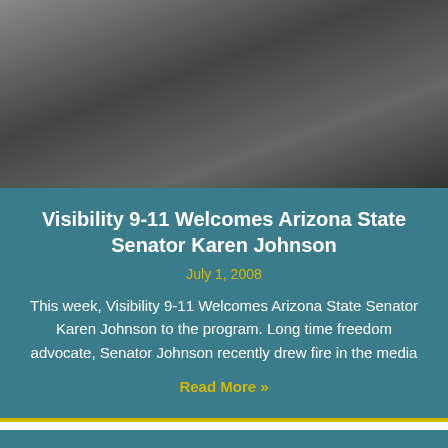[Figure (photo): Photograph of a person at a desk, appears to be an office or newsroom setting with papers and equipment visible.]
Visibility 9-11 Welcomes Arizona State Senator Karen Johnson
July 1, 2008
This week, Visibility 9-11 Welcomes Arizona State Senator Karen Johnson to the program. Long time freedom advocate, Senator Johnson recently drew fire in the media
Read More »
[Figure (other): A second teal/dark cyan content card block, appears blank or content not visible.]